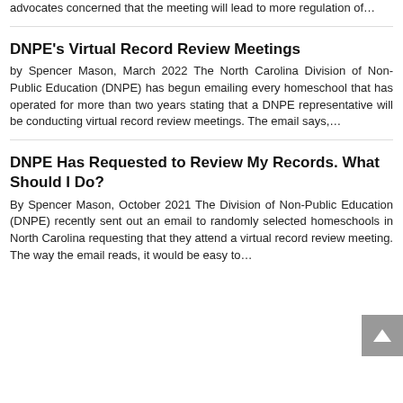advocates concerned that the meeting will lead to more regulation of…
DNPE's Virtual Record Review Meetings
by Spencer Mason, March 2022 The North Carolina Division of Non-Public Education (DNPE) has begun emailing every homeschool that has operated for more than two years stating that a DNPE representative will be conducting virtual record review meetings. The email says,…
DNPE Has Requested to Review My Records. What Should I Do?
By Spencer Mason, October 2021 The Division of Non-Public Education (DNPE) recently sent out an email to randomly selected homeschools in North Carolina requesting that they attend a virtual record review meeting. The way the email reads, it would be easy to…